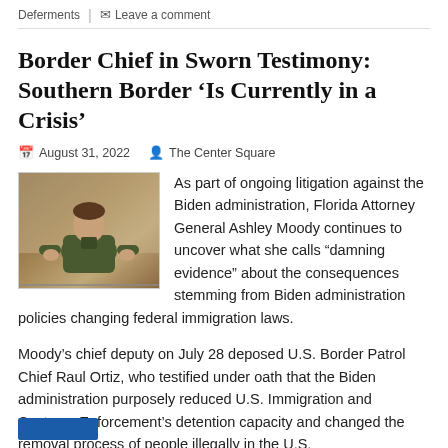Deferments  |  Leave a comment
Border Chief in Sworn Testimony: Southern Border ‘Is Currently in a Crisis’
August 31, 2022   The Center Square
[Figure (photo): Photo of a U.S. Border Patrol official in uniform seated indoors]
As part of ongoing litigation against the Biden administration, Florida Attorney General Ashley Moody continues to uncover what she calls “damning evidence” about the consequences stemming from Biden administration policies changing federal immigration laws.
Moody’s chief deputy on July 28 deposed U.S. Border Patrol Chief Raul Ortiz, who testified under oath that the Biden administration purposely reduced U.S. Immigration and Customs Enforcement’s detention capacity and changed the removal process of people illegally in the U.S.